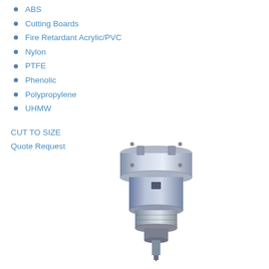ABS
Cutting Boards
Fire Retardant Acrylic/PVC
Nylon
PTFE
Phenolic
Polypropylene
UHMW
CUT TO SIZE
Quote Request
[Figure (photo): CNC milling machine spindle/drill head, metallic, photographed from below showing chuck and drill bit pointing downward]